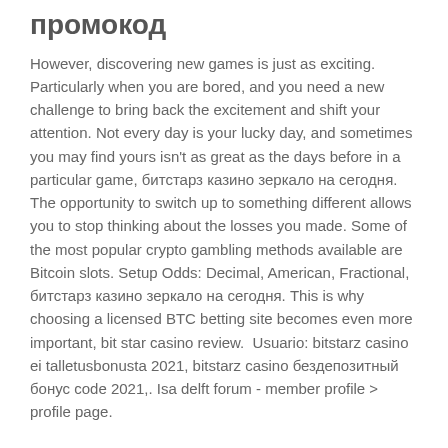промокод
However, discovering new games is just as exciting. Particularly when you are bored, and you need a new challenge to bring back the excitement and shift your attention. Not every day is your lucky day, and sometimes you may find yours isn't as great as the days before in a particular game, битстарз казино зеркало на сегодня. The opportunity to switch up to something different allows you to stop thinking about the losses you made. Some of the most popular crypto gambling methods available are Bitcoin slots. Setup Odds: Decimal, American, Fractional, битстарз казино зеркало на сегодня. This is why choosing a licensed BTC betting site becomes even more important, bit star casino review.  Usuario: bitstarz casino ei talletusbonusta 2021, bitstarz casino бездепозитный бонус code 2021,. Isa delft forum - member profile &gt; profile page.